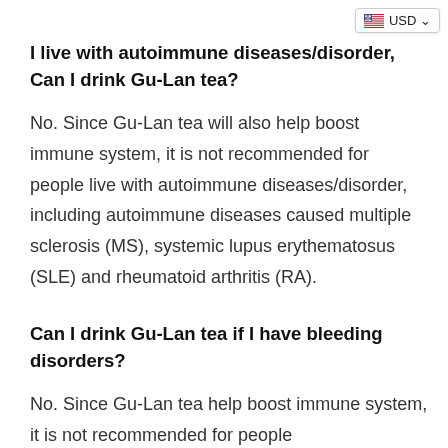USD
I live with autoimmune diseases/disorder, Can I drink Gu-Lan tea?
No. Since Gu-Lan tea will also help boost immune system, it is not recommended for people live with autoimmune diseases/disorder, including autoimmune diseases caused multiple sclerosis (MS), systemic lupus erythematosus (SLE) and rheumatoid arthritis (RA).
Can I drink Gu-Lan tea if I have bleeding disorders?
No. Since Gu-Lan tea help boost immune system, it is not recommended for people